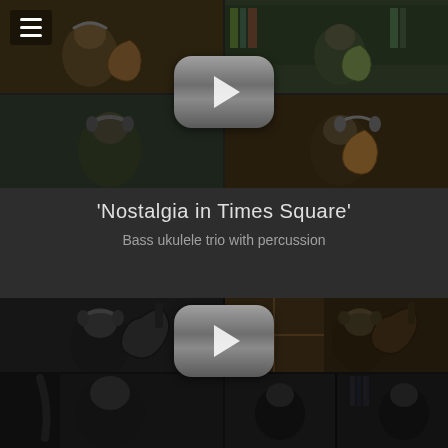[Figure (screenshot): Video thumbnail showing split-screen of a musician with guitar and ukulele in a home setting, with YouTube play button overlay and hamburger menu icon in top-left corner]
'Nostalgia in Times Square'
Bass ukulele trio with percussion
[Figure (screenshot): Black and white video thumbnail showing split-screen of a musician playing bass ukulele, with YouTube play button overlay]